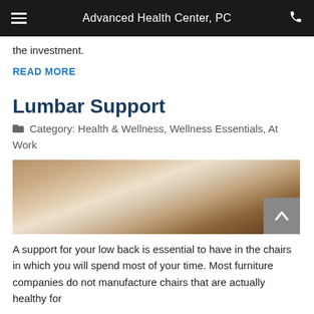Advanced Health Center, PC
the investment.
READ MORE
Lumbar Support
Category: Health & Wellness, Wellness Essentials, At Work
[Figure (photo): Blurred photo of a chair with lumbar support, warm brown tones]
A support for your low back is essential to have in the chairs in which you will spend most of your time. Most furniture companies do not manufacture chairs that are actually healthy for